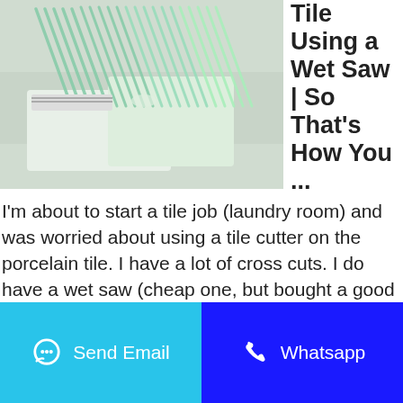[Figure (photo): Photo of green foam swabs/cleaning sticks in packaging on a light background]
Tile Using a Wet Saw | So That's How You ...
I'm about to start a tile job (laundry room) and was worried about using a tile cutter on the porcelain tile. I have a lot of cross cuts. I do have a wet saw (cheap one, but bought a good blade) and will use for the long cuts. tile is 6×24.
Send Email | WhatsApp
[Figure (photo): Photo of green tile pieces on gray background]
Rubi DC 250 1200
Send Email
Whatsapp